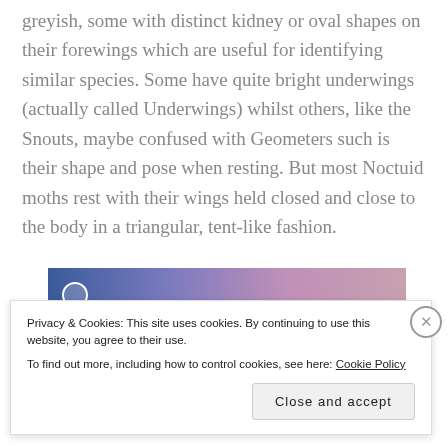greyish, some with distinct kidney or oval shapes on their forewings which are useful for identifying similar species. Some have quite bright underwings (actually called Underwings) whilst others, like the Snouts, maybe confused with Geometers such is their shape and pose when resting. But most Noctuid moths rest with their wings held closed and close to the body in a triangular, tent-like fashion.
[Figure (photo): A horizontal photo/image with a blue-to-purple gradient color bar, possibly showing moth wing coloration spectrum. A small circular icon appears in the lower-left of the image.]
Privacy & Cookies: This site uses cookies. By continuing to use this website, you agree to their use.
To find out more, including how to control cookies, see here: Cookie Policy
Close and accept